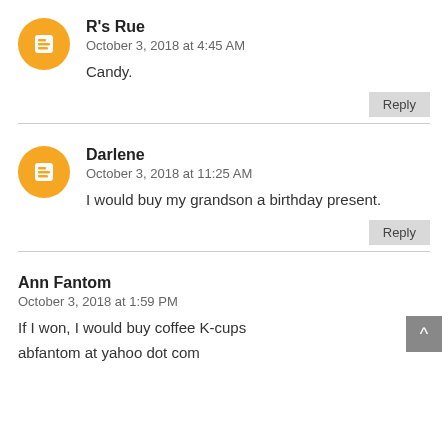R's Rue
October 3, 2018 at 4:45 AM
Candy.
Reply
Darlene
October 3, 2018 at 11:25 AM
I would buy my grandson a birthday present.
Reply
Ann Fantom
October 3, 2018 at 1:59 PM
If I won, I would buy coffee K-cups
abfantom at yahoo dot com